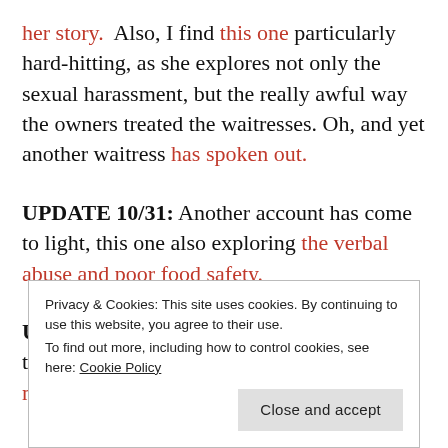her story.  Also, I find this one particularly hard-hitting, as she explores not only the sexual harassment, but the really awful way the owners treated the waitresses. Oh, and yet another waitress has spoken out.
UPDATE 10/31: Another account has come to light, this one also exploring the verbal abuse and poor food safety.
UPDATE 11/1: For everybody following these updates, this is a great resource for more context. And
Privacy & Cookies: This site uses cookies. By continuing to use this website, you agree to their use.
To find out more, including how to control cookies, see here: Cookie Policy
Close and accept